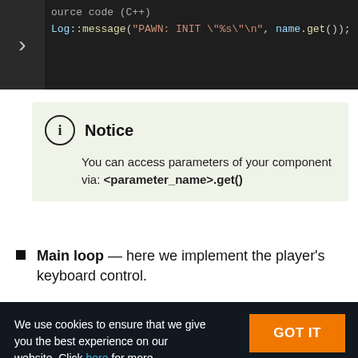[Figure (screenshot): Dark code block showing C++ source code with partial title 'ource code (C++)' and a line: Log::message("PAWN: INIT \"%s\"\n", name.get()); with a right-arrow toggle on the left.]
Notice
You can access parameters of your component via: <parameter_name>.get()
Main loop — here we implement the player's keyboard control.
We use cookies to ensure that we give you the best experience on our website. Click here for more information.